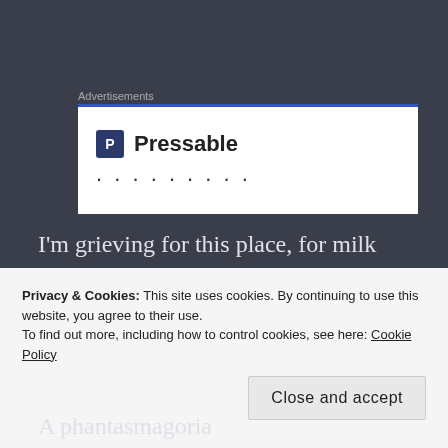Advertisements
[Figure (other): Pressable advertisement banner with logo icon and dots]
I'm grieving for this place, for milk crates and domino games.
I sob for the mom and pop shops.
This place has always meant...
Privacy & Cookies: This site uses cookies. By continuing to use this website, you agree to their use. To find out more, including how to control cookies, see here: Cookie Policy
Close and accept
A phantasmagoria